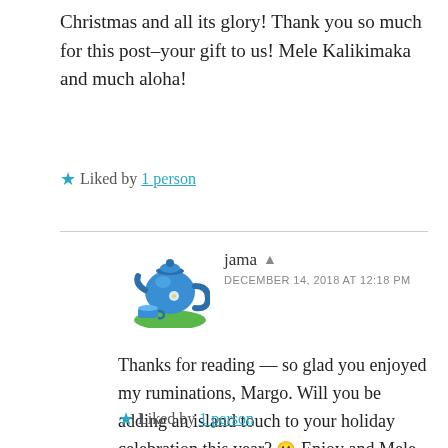Christmas and all its glory! Thank you so much for this post–your gift to us! Mele Kalikimaka and much aloha!
★ Liked by 1 person
jama ▲ DECEMBER 14, 2018 AT 12:18 PM
[Figure (illustration): Avatar image of a blue teapot with small blue teacup on green surface]
Thanks for reading — so glad you enjoyed my ruminations, Margo. Will you be adding an island touch to your holiday celebration this year? 🙂 Enjoy and Mele Kalikimaka to you too!
★ Liked by 1 person